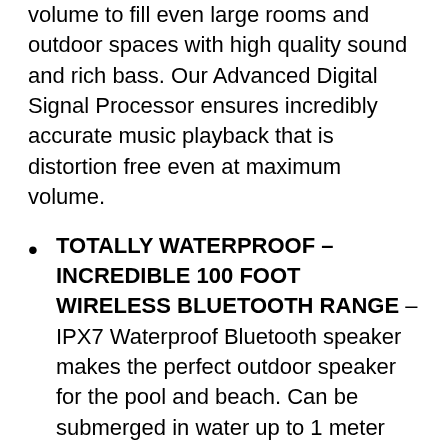volume to fill even large rooms and outdoor spaces with high quality sound and rich bass. Our Advanced Digital Signal Processor ensures incredibly accurate music playback that is distortion free even at maximum volume.
TOTALLY WATERPROOF – INCREDIBLE 100 FOOT WIRELESS BLUETOOTH RANGE – IPX7 Waterproof Bluetooth speaker makes the perfect outdoor speaker for the pool and beach. Can be submerged in water up to 1 meter deep for up to 30 minutes. PLAY UP TO 100 FEET AWAY FROM YOUR DEVICE – Advanced antenna and Bluetooth 5.0 connects quickly to your Echo, Echo Dot, iPhone, iPad, smartphone, cell